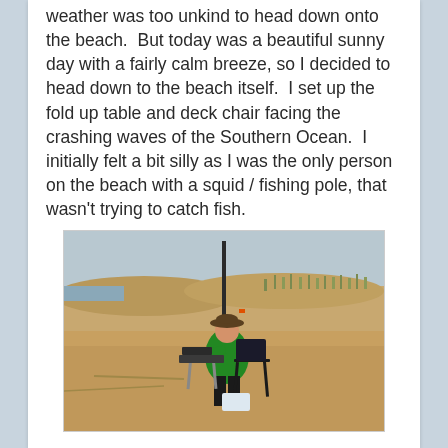weather was too unkind to head down onto the beach.  But today was a beautiful sunny day with a fairly calm breeze, so I decided to head down to the beach itself.  I set up the fold up table and deck chair facing the crashing waves of the Southern Ocean.  I initially felt a bit silly as I was the only person on the beach with a squid / fishing pole, that wasn't trying to catch fish.
[Figure (photo): A person wearing a green hoodie and a wide-brimmed hat sits in a folding camp chair on a sandy beach, with a tall pole or antenna erected behind them and a small fold-up table in front. Sand dunes with sparse grass are visible in the background under an overcast sky.]